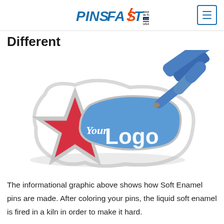PINSFAST MADE IN THE USA
Different
[Figure (photo): A custom soft enamel pin shaped like a star with 'Your Logo' text in red and blue enamel, with a blue tool/pen applying enamel to the pin.]
The informational graphic above shows how Soft Enamel pins are made. After coloring your pins, the liquid soft enamel is fired in a kiln in order to make it hard.